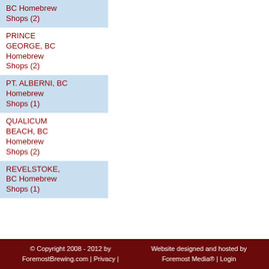BC Homebrew Shops (2)
PRINCE GEORGE, BC Homebrew Shops (2)
PT. ALBERNI, BC Homebrew Shops (1)
QUALICUM BEACH, BC Homebrew Shops (2)
REVELSTOKE, BC Homebrew Shops (1)
© Copyright 2008 - 2012 by ForemostBrewing.com | Privacy | Website designed and hosted by Foremost Media® | Login